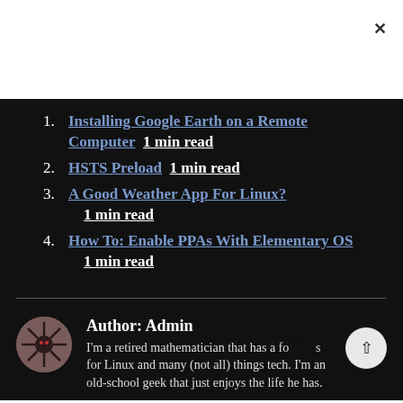Installing Google Earth on a Remote Computer   1 min read
HSTS Preload   1 min read
A Good Weather App For Linux?   1 min read
How To: Enable PPAs With Elementary OS   1 min read
Author: Admin
I'm a retired mathematician that has a fo[ndness] for Linux and many (not all) things tech. I'm an old-school geek that just enjoys the life he has.